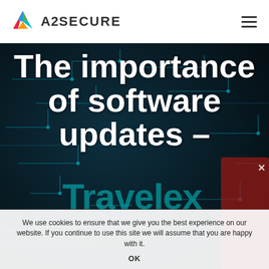[Figure (logo): A2Secure logo with colorful triangular icon and text 'A2SECURE']
The importance of software updates –
Travelex
We use cookies to ensure that we give you the best experience on our website. If you continue to use this site we will assume that you are happy with it.
OK